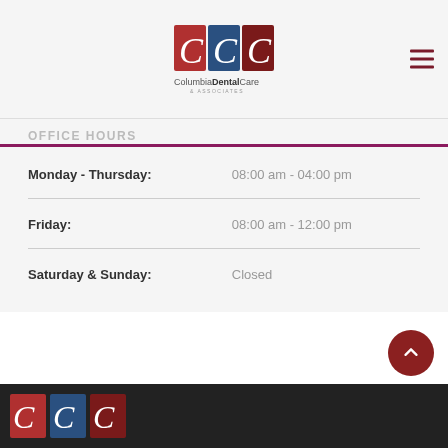[Figure (logo): Columbia Dental Care & Associates logo with decorative C letters in red and blue squares]
OFFICE HOURS
| Day | Hours |
| --- | --- |
| Monday - Thursday: | 08:00 am - 04:00 pm |
| Friday: | 08:00 am - 12:00 pm |
| Saturday & Sunday: | Closed |
[Figure (logo): Columbia Dental Care & Associates footer logo icons]